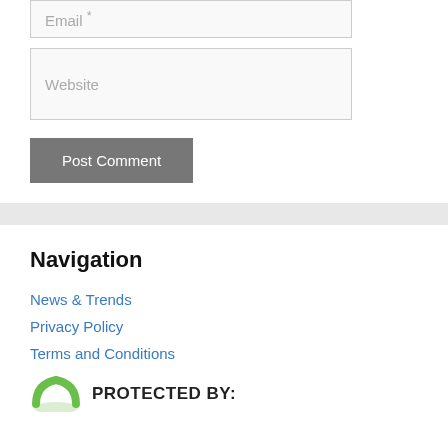Email *
Website
Post Comment
Navigation
News & Trends
Privacy Policy
Terms and Conditions
PROTECTED BY: